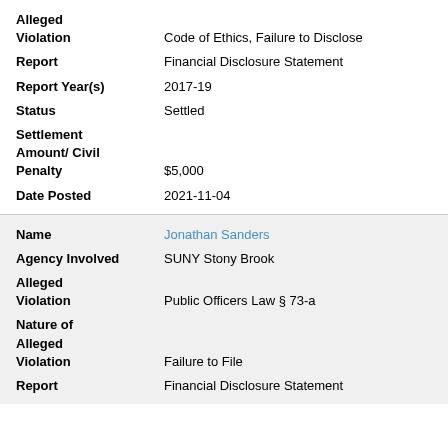| Alleged Violation | Code of Ethics, Failure to Disclose |
| Report | Financial Disclosure Statement |
| Report Year(s) | 2017-19 |
| Status | Settled |
| Settlement Amount/ Civil Penalty | $5,000 |
| Date Posted | 2021-11-04 |
| Name | Jonathan Sanders |
| Agency Involved | SUNY Stony Brook |
| Alleged Violation | Public Officers Law § 73-a |
| Nature of Alleged Violation | Failure to File |
| Report | Financial Disclosure Statement |